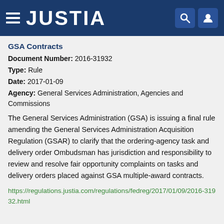JUSTIA
GSA Contracts
Document Number: 2016-31932
Type: Rule
Date: 2017-01-09
Agency: General Services Administration, Agencies and Commissions
The General Services Administration (GSA) is issuing a final rule amending the General Services Administration Acquisition Regulation (GSAR) to clarify that the ordering-agency task and delivery order Ombudsman has jurisdiction and responsibility to review and resolve fair opportunity complaints on tasks and delivery orders placed against GSA multiple-award contracts.
https://regulations.justia.com/regulations/fedreg/2017/01/09/2016-31932.html